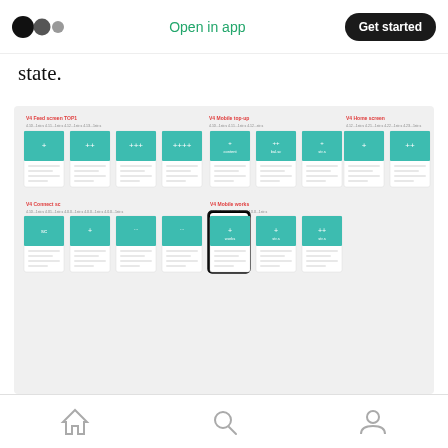Open in app | Get started
state.
[Figure (screenshot): A grid of mobile app screenshots showing dozens of different UI states arranged in rows with labels and sub-labels. One phone in the second row is highlighted in dark/selected state.]
How do you test an app screen with dozens of different states?
End-to-end testing
End-to-end testing is the final stage of our QA process. When we finish working on a new
Home | Search | Profile